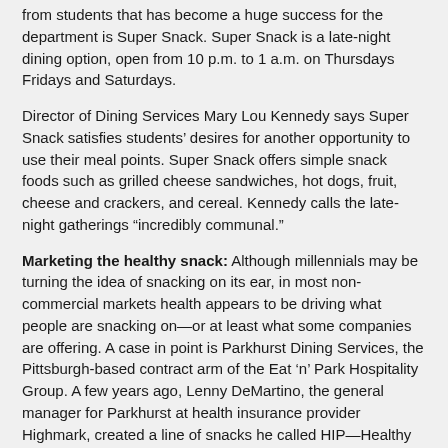from students that has become a huge success for the department is Super Snack. Super Snack is a late-night dining option, open from 10 p.m. to 1 a.m. on Thursdays Fridays and Saturdays.
Director of Dining Services Mary Lou Kennedy says Super Snack satisfies students' desires for another opportunity to use their meal points. Super Snack offers simple snack foods such as grilled cheese sandwiches, hot dogs, fruit, cheese and crackers, and cereal. Kennedy calls the late-night gatherings “incredibly communal.”
Marketing the healthy snack: Although millennials may be turning the idea of snacking on its ear, in most non-commercial markets health appears to be driving what people are snacking on—or at least what some companies are offering. A case in point is Parkhurst Dining Services, the Pittsburgh-based contract arm of the Eat ‘n’ Park Hospitality Group. A few years ago, Lenny DeMartino, the general manager for Parkhurst at health insurance provider Highmark, created a line of snacks he called HIP—Healthy Interruption Points. The line has been so successful that it is starting to be picked up by other Parkhurst B&I accounts.
“We took away candy bars and chips in 2004, at the request of the client,” explains DeMartino. “So we were challenged with how to capture additional sales. So we developed HIP.